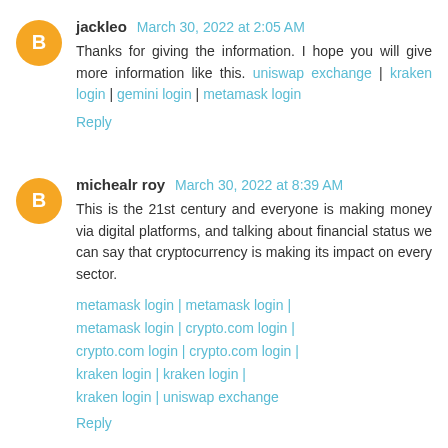jackleo March 30, 2022 at 2:05 AM
Thanks for giving the information. I hope you will give more information like this. uniswap exchange | kraken login | gemini login | metamask login
Reply
michealr roy March 30, 2022 at 8:39 AM
This is the 21st century and everyone is making money via digital platforms, and talking about financial status we can say that cryptocurrency is making its impact on every sector.
metamask login | metamask login | metamask login | crypto.com login | crypto.com login | crypto.com login | kraken login | kraken login | kraken login | uniswap exchange
Reply